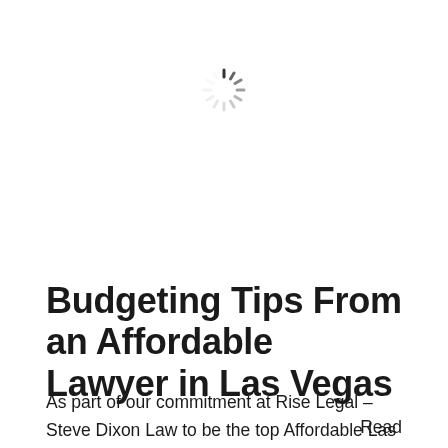[Figure (other): A loading spinner icon (radial dashes arranged in a circle, indicating a loading state), centered near the top of the page.]
Budgeting Tips From an Affordable Lawyer in Las Vegas
As part of our commitment at Rise Legal – Steve Dixon Law to be the top Affordable Las Vegas Lawyer, this blog post seems like a good fit. It is not uncommon for me to sit down with a client
Read